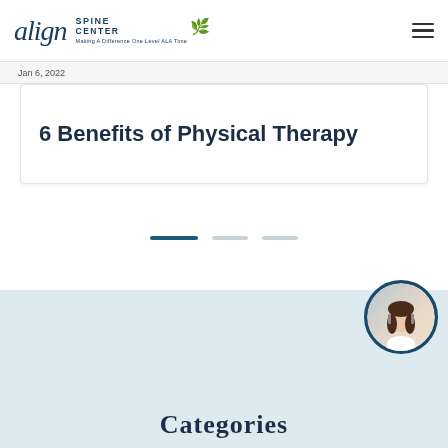[Figure (logo): Align Spine Center logo with tagline 'Making A Difference One Level ALA Time']
Jan 6, 2022
6 Benefits of Physical Therapy
[Figure (infographic): Slider navigation with three dashes: one active (dark teal) and two inactive (light gray)]
[Figure (photo): Customer service representative avatar in circular frame with dark blue border]
Categories